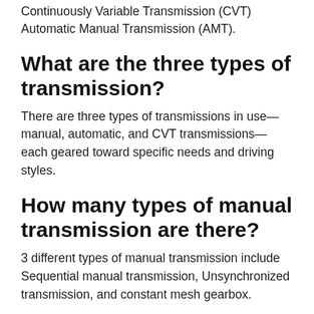Continuously Variable Transmission (CVT) Automatic Manual Transmission (AMT).
What are the three types of transmission?
There are three types of transmissions in use—manual, automatic, and CVT transmissions—each geared toward specific needs and driving styles.
How many types of manual transmission are there?
3 different types of manual transmission include Sequential manual transmission, Unsynchronized transmission, and constant mesh gearbox.